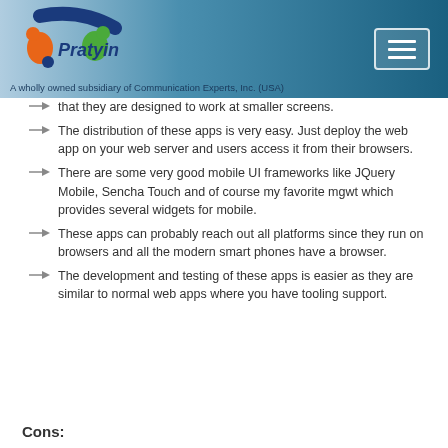[Figure (logo): Pratyin logo with colorful circular figures and text]
A wholly owned subsidiary of Communication Experts, Inc. (USA)
that they are designed to work at smaller screens.
The distribution of these apps is very easy. Just deploy the web app on your web server and users access it from their browsers.
There are some very good mobile UI frameworks like JQuery Mobile, Sencha Touch and of course my favorite mgwt which provides several widgets for mobile.
These apps can probably reach out all platforms since they run on browsers and all the modern smart phones have a browser.
The development and testing of these apps is easier as they are similar to normal web apps where you have tooling support.
Cons: